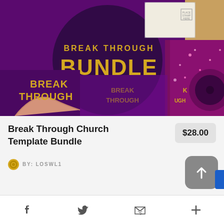[Figure (photo): Product mockup photo showing Break Through Church Template Bundle — purple/magenta themed church marketing materials including flyers, CD, and mailer envelope, with golden text reading BREAK THROUGH BUNDLE overlaid on a dark circular background]
Break Through Church Template Bundle
$28.00
BY: LOSWL1
Social sharing icons: Facebook, Twitter, Email, Add